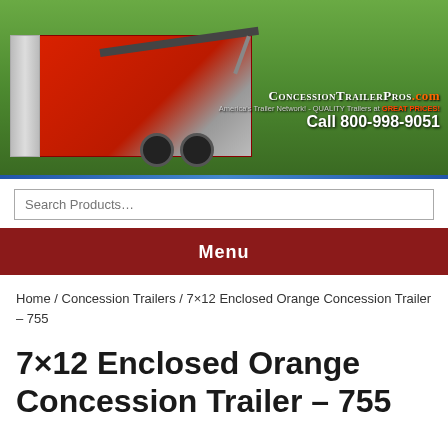[Figure (photo): ConcessionTrailerPros.com banner image showing a red enclosed concession trailer with awning extended, parked on grass with trees in background. Logo and phone number overlay: ConcessionTrailerPros.com, America's Trailer Network! - QUALITY Trailers at GREAT PRICES!, Call 800-998-9051]
Search Products…
Menu
Home / Concession Trailers / 7×12 Enclosed Orange Concession Trailer – 755
7×12 Enclosed Orange Concession Trailer – 755
[contact-form-7 id="16" title="Listing Top Form"]
| Title: | 7×12 Enclosed Orange Concession Trailer – |